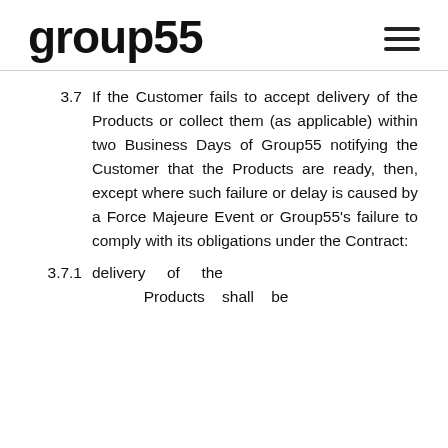group55
3.7 If the Customer fails to accept delivery of the Products or collect them (as applicable) within two Business Days of Group55 notifying the Customer that the Products are ready, then, except where such failure or delay is caused by a Force Majeure Event or Group55's failure to comply with its obligations under the Contract:
3.7.1 delivery of the Products shall be